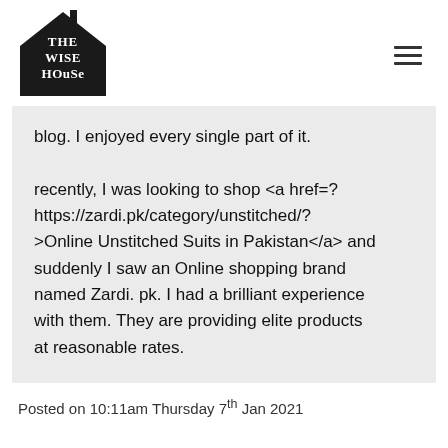[Figure (logo): The Wise House logo — black house silhouette with THE WISE HOUSE text inside]
blog. I enjoyed every single part of it. recently, I was looking to shop <a href=? https://zardi.pk/category/unstitched/? >Online Unstitched Suits in Pakistan</a> and suddenly I saw an Online shopping brand named Zardi. pk. I had a brilliant experience with them. They are providing elite products at reasonable rates.
Posted on 10:11am Thursday 7th Jan 2021